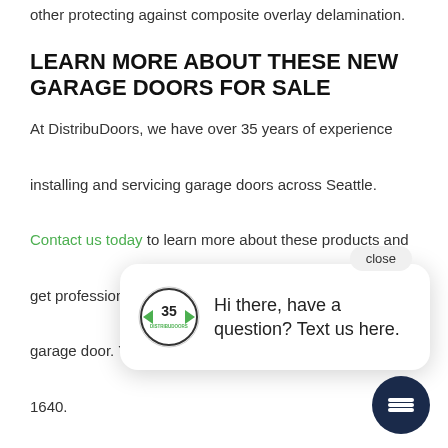other protecting against composite overlay delamination.
LEARN MORE ABOUT THESE NEW GARAGE DOORS FOR SALE
At DistribuDoors, we have over 35 years of experience installing and servicing garage doors across Seattle. Contact us today to learn more about these products and get professional assistance in designing your custom garage door. You can also reach us by calling 206-442-1640.
SIGNS THAT YOU NEED A NEW GARAGE DOOR
When is it time to replace a garage door? There's no single answer to that question. Sometimes damage to a
[Figure (screenshot): Chat popup overlay with DistribuDoors 35-year logo and text 'Hi there, have a question? Text us here.' with a close button and dark navy chat icon button at bottom right.]